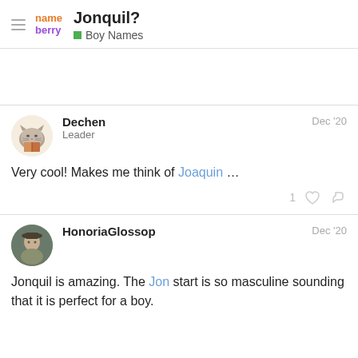Jonquil? — Boy Names (Nameberry forum)
Very cool! Makes me think of Joaquin ...
Jonquil is amazing. The Jon start is so masculine sounding that it is perfect for a boy.